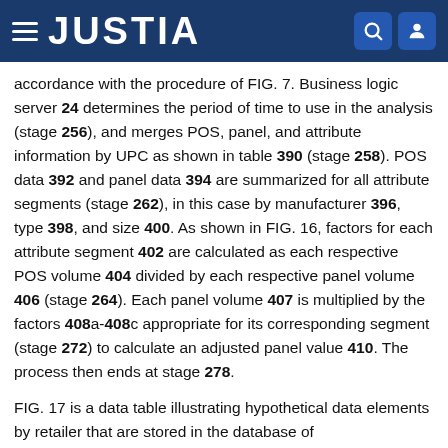JUSTIA
accordance with the procedure of FIG. 7. Business logic server 24 determines the period of time to use in the analysis (stage 256), and merges POS, panel, and attribute information by UPC as shown in table 390 (stage 258). POS data 392 and panel data 394 are summarized for all attribute segments (stage 262), in this case by manufacturer 396, type 398, and size 400. As shown in FIG. 16, factors for each attribute segment 402 are calculated as each respective POS volume 404 divided by each respective panel volume 406 (stage 264). Each panel volume 407 is multiplied by the factors 408a-408c appropriate for its corresponding segment (stage 272) to calculate an adjusted panel value 410. The process then ends at stage 278.
FIG. 17 is a data table illustrating hypothetical data elements by retailer that are stored in the database of